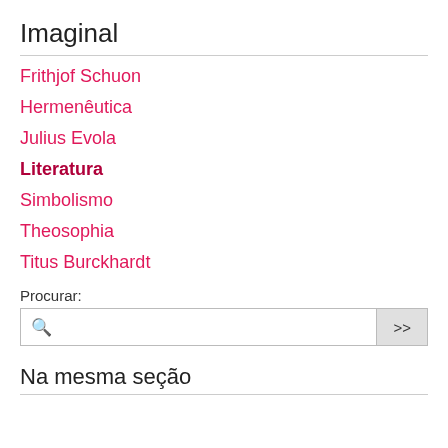Imaginal
Frithjof Schuon
Hermenêutica
Julius Evola
Literatura
Simbolismo
Theosophia
Titus Burckhardt
Procurar:
Na mesma seção